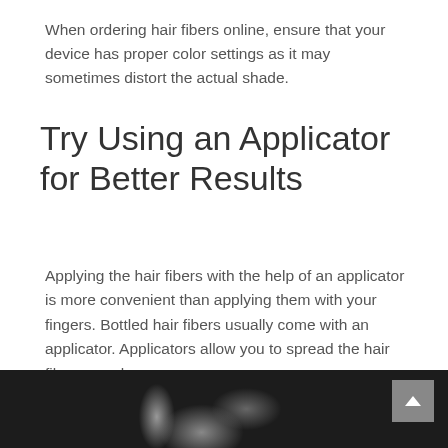When ordering hair fibers online, ensure that your device has proper color settings as it may sometimes distort the actual shade.
Try Using an Applicator for Better Results
Applying the hair fibers with the help of an applicator is more convenient than applying them with your fingers. Bottled hair fibers usually come with an applicator. Applicators allow you to spread the hair fibers evenly.
[Figure (photo): Photo of a person applying hair fibers with an applicator tool, partially visible at the bottom of the page against a dark background.]